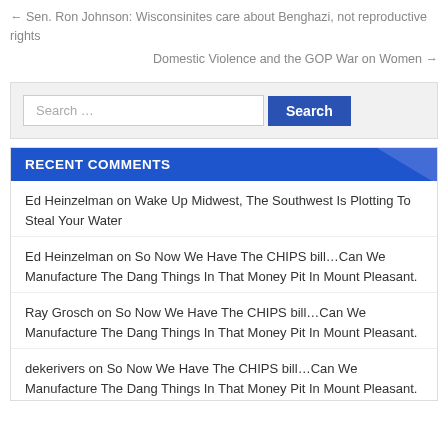← Sen. Ron Johnson: Wisconsinites care about Benghazi, not reproductive rights
Domestic Violence and the GOP War on Women →
Search …
RECENT COMMENTS
Ed Heinzelman on Wake Up Midwest, The Southwest Is Plotting To Steal Your Water
Ed Heinzelman on So Now We Have The CHIPS bill…Can We Manufacture The Dang Things In That Money Pit In Mount Pleasant.
Ray Grosch on So Now We Have The CHIPS bill…Can We Manufacture The Dang Things In That Money Pit In Mount Pleasant.
dekerivers on So Now We Have The CHIPS bill…Can We Manufacture The Dang Things In That Money Pit In Mount Pleasant.